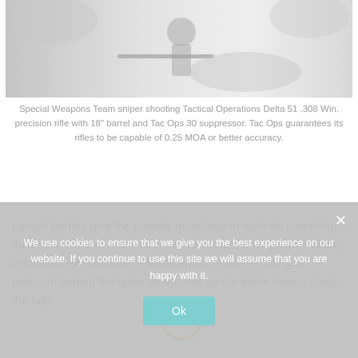[Figure (photo): Grayscale photo of a Special Weapons Team sniper shooting a precision rifle, outdoors with foliage in background]
Special Weapons Team sniper shooting Tactical Operations Delta 51 .308 Win. precision rifle with 18" barrel and Tac Ops 30 suppressor. Tac Ops guarantees its rifles to be capable of 0.25 MOA or better accuracy.
Longer barrels give the powder more time to work on propelling the bullet. For this reason longer barrels generally provide higher velocities, everything else being equal. However, the gas pressure behind the bullet diminishes as the bullet moves down the bore.
We use cookies to ensure that we give you the best experience on our website. If you continue to use this site we will assume that you are happy with it.